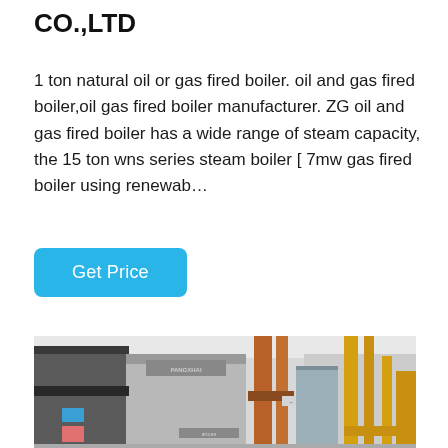CO.,LTD
1 ton natural oil or gas fired boiler. oil and gas fired boiler,oil gas fired boiler manufacturer. ZG oil and gas fired boiler has a wide range of steam capacity, the 15 ton wns series steam boiler [ 7mw gas fired boiler using renewab…
[Figure (photo): Industrial boiler room showing large gray boiler unit with PANGXHAI branding, orange/copper pipes running vertically, yellow pipes on the right side, industrial facility interior]
Get Price